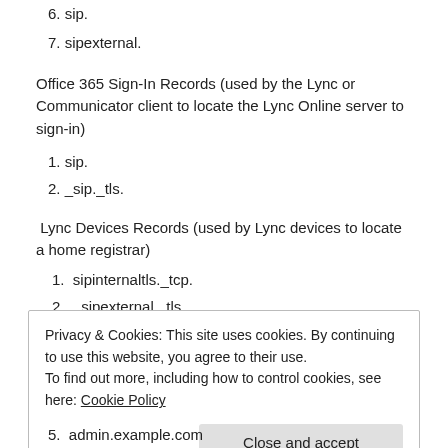6. sip.
7. sipexternal.
Office 365 Sign-In Records (used by the Lync or Communicator client to locate the Lync Online server to sign-in)
1. sip.
2. _sip._tls.
Lync Devices Records (used by Lync devices to locate a home registrar)
1. sipinternaltls._tcp.
2. _sipexternal._tls.
3. _sipexternaltls.
4. ucupdates-r2.
Privacy & Cookies: This site uses cookies. By continuing to use this website, you agree to their use.
To find out more, including how to control cookies, see here: Cookie Policy
5. admin.example.com